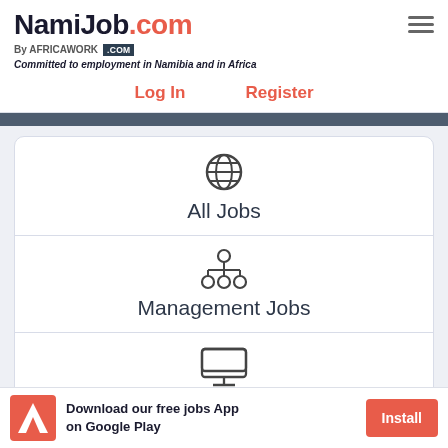NamiJob.com By AFRICAWORK.COM — Committed to employment in Namibia and in Africa
Log In    Register
[Figure (screenshot): NamiJob website navigation menu showing All Jobs, Management Jobs, and IT Jobs category cards with icons]
Download our free jobs App on Google Play
Install